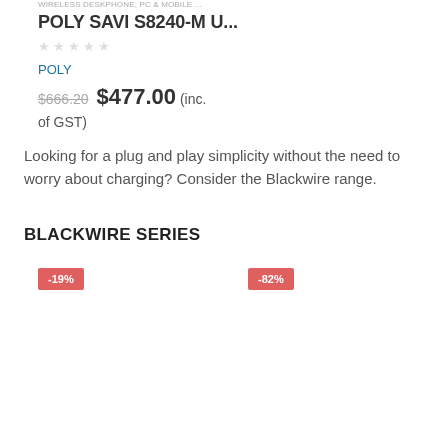WIRELESS DESKPHONE, PC & MOBILE ...
POLY SAVI S8240-M U...
★★★★★
POLY
$666.20  $477.00 (inc. of GST)
Looking for a plug and play simplicity without the need to worry about charging? Consider the Blackwire range.
BLACKWIRE SERIES
-19%
-82%